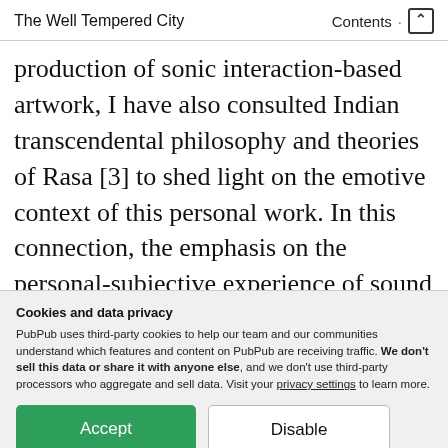The Well Tempered City · Contents ↑
production of sonic interaction-based artwork, I have also consulted Indian transcendental philosophy and theories of Rasa [3] to shed light on the emotive context of this personal work. In this connection, the emphasis on the personal-subjective experience of sound argues that the phenomenological investigation of the
Cookies and data privacy
PubPub uses third-party cookies to help our team and our communities understand which features and content on PubPub are receiving traffic. We don't sell this data or share it with anyone else, and we don't use third-party processors who aggregate and sell data. Visit your privacy settings to learn more.
articulation of the artistic process with